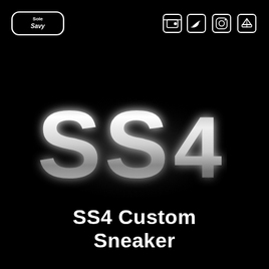[Figure (logo): SoleSavy logo in top left corner, white text on black pill/rounded rectangle border]
[Figure (illustration): Four social media / nav icons in top right: wallet/StockX icon, Twitter bird, Instagram circle, OpenSea boat - all white outlines on black]
[Figure (illustration): Large 3D metallic silver letters 'SS4' centered on black background with glowing white light behind them, creating a chrome/reflective effect]
SS4 Custom Sneaker